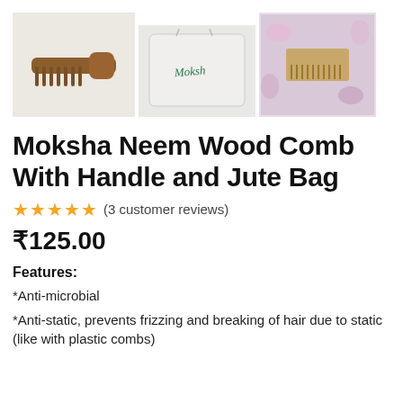[Figure (photo): Three product photos: a wooden comb with handle on beige background, a white fabric pouch with cursive text, and a wide-tooth wooden comb on floral fabric.]
Moksha Neem Wood Comb With Handle and Jute Bag
★★★★★ (3 customer reviews)
₹125.00
Features:
*Anti-microbial
*Anti-static, prevents frizzing and breaking of hair due to static (like with plastic combs)